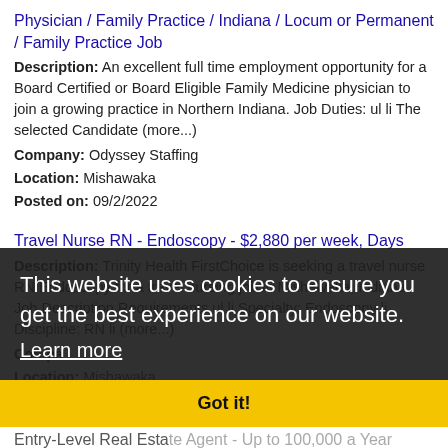Physician / Family Practice / Indiana / Locum or Permanent / Family Practice Job
Description: An excellent full time employment opportunity for a Board Certified or Board Eligible Family Medicine physician to join a growing practice in Northern Indiana. Job Duties: ul li The selected Candidate (more...)
Company: Odyssey Staffing
Location: Mishawaka
Posted on: 09/2/2022
Travel Nurse RN - Endoscopy - $2,880 per week, Days
Description: Trinity Health FirstChoice is seeking a travel nurse RN Endoscopy for a travel nursing job in Mishawaka, Indiana. Job Description Requirements ul li Specialty: Endoscopy li Discipline: RN li (more...)
Company:
Location: Mishawaka
Posted on: 09/2/2022
This website uses cookies to ensure you get the best experience on our website.
Learn more
Got it!
Entry-Level Real Estate Agent - Up to 100,000 a Year
Description: Job DescriptionAn Entry-Level Real Estate Sales Representative is a real estate agent who meets with clients to help them with the purchase and sale of property. In this position,